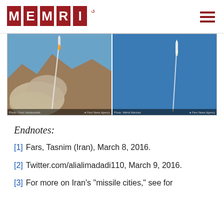[Figure (logo): MEMRI logo with red square letter tiles spelling M E M R I and Arabic text میمری]
[Figure (photo): Two side-by-side news photos of Iranian missile launches. Left photo shows a missile launching near rocky mountainous terrain with a large smoke cloud, credited to Photo: Omid Vahabzadeh / Fars News Agency. Right photo shows a missile streaking upward against a clear blue sky, credited to Photo: Mehdi Marizad / Fars News Agency.]
Endnotes:
[1] Fars, Tasnim (Iran), March 8, 2016.
[2] Twitter.com/alialimadadi110, March 9, 2016.
[3] For more on Iran's "missile cities," see for